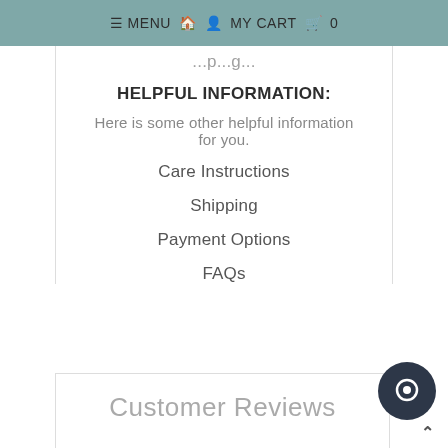≡ MENU 🏠 👤 MY CART 🛒 0
...p...g...
HELPFUL INFORMATION:
Here is some other helpful information for you.
Care Instructions
Shipping
Payment Options
FAQs
Customer Reviews